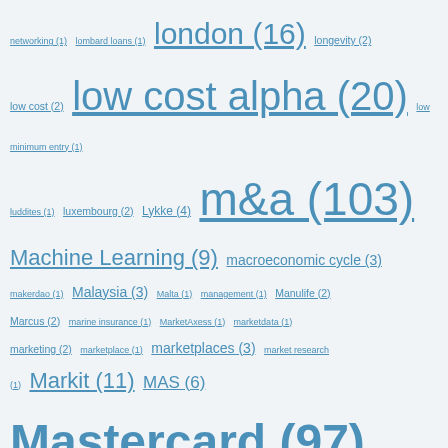networking (1) lombard loans (1) london (16) longevity (2) low cost (2) low cost alpha (20) low minimum entry (1) luddites (1) luxembourg (2) Lykke (4) m&a (103) Machine Learning (9) macroeconomic cycle (3) makerdao (1) Malaysia (3) Malta (1) management (1) Manulife (2) Marcus (2) marine insurance (1) MarketAxess (1) marketdata (1) marketing (2) marketplace (1) marketplaces (3) market research (1) Markit (11) MAS (6) Mastercard (97) matchmove (1) mckinsey (2) MediaTech (3) meniga (1) mentoring (8) merchant cash advance (4) mervyn king (1) messari (1) meteo protect (2) metrics (1) metro bank (2) Metromile (3) mexico (2) Michigan (1) microensure (3) microfinance (4) MicroInsurance (4) micromultinational (13) micro p2p lending (2) micropayments (7) Microsoft (4) middle east (1) mifid2 (3) MIFID II (3) Millenial Mortgages (1) millenials (1) mindshare to marketshare (10) Mint Payments (1) Mitel (1) MKTX (1) ML (2) mobile (2) mobile e-commerce (3) mobile microinsurance